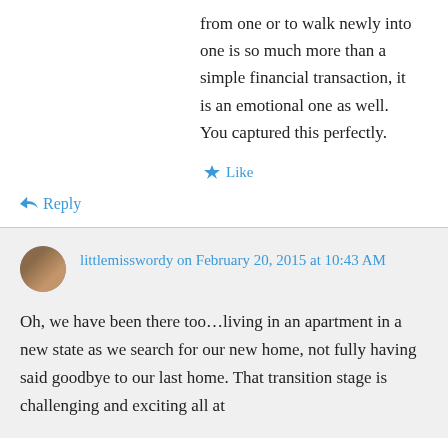from one or to walk newly into one is so much more than a simple financial transaction, it is an emotional one as well. You captured this perfectly.
Like
Reply
littlemisswordy on February 20, 2015 at 10:43 AM
Oh, we have been there too…living in an apartment in a new state as we search for our new home, not fully having said goodbye to our last home. That transition stage is challenging and exciting all at